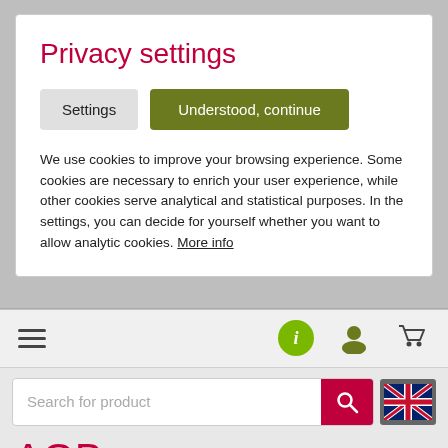Privacy settings
Settings  |  Understood, continue
We use cookies to improve your browsing experience. Some cookies are necessary to enrich your user experience, while other cookies serve analytical and statistical purposes. In the settings, you can decide for yourself whether you want to allow analytic cookies. More info
[Figure (screenshot): Website navigation bar with hamburger menu icon, info circle icon, user icon, and shopping cart icon on a light grey background]
[Figure (screenshot): Search bar with placeholder text 'Search for product', a red search button with magnifier icon, and a UK flag language selector button]
AGB
GENERAL TERMS AND CONDITIONS
1 Scope